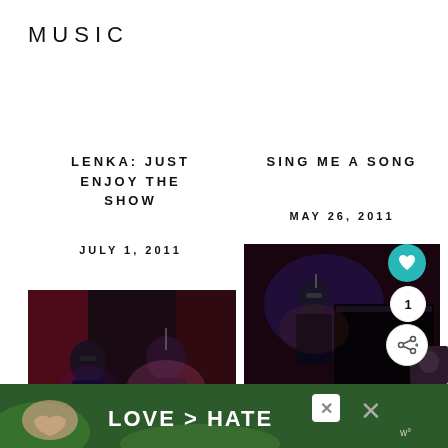MUSIC
LENKA: JUST ENJOY THE SHOW
JULY 1, 2011
[Figure (photo): Concert photo showing a female performer in black and a male musician on stage with dark red curtains in background]
SING ME A SONG
MAY 26, 2011
[Figure (photo): Concert photo showing a male performer at a piano/keyboard on stage in a dark venue]
[Figure (photo): Ad banner showing hands making a heart shape over a nature background with text LOVE > HATE]